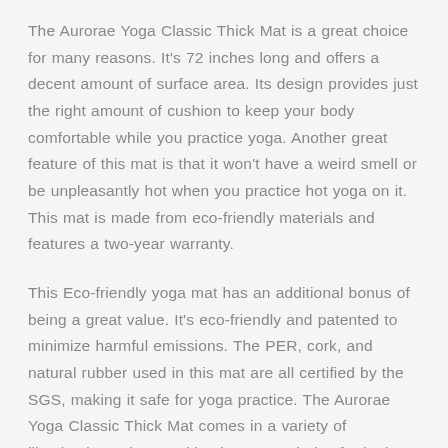The Aurorae Yoga Classic Thick Mat is a great choice for many reasons. It's 72 inches long and offers a decent amount of surface area. Its design provides just the right amount of cushion to keep your body comfortable while you practice yoga. Another great feature of this mat is that it won't have a weird smell or be unpleasantly hot when you practice hot yoga on it. This mat is made from eco-friendly materials and features a two-year warranty.
This Eco-friendly yoga mat has an additional bonus of being a great value. It's eco-friendly and patented to minimize harmful emissions. The PER, cork, and natural rubber used in this mat are all certified by the SGS, making it safe for yoga practice. The Aurorae Yoga Classic Thick Mat comes in a variety of illuminating colors, making it a great choice for both beginners and experienced yogis.